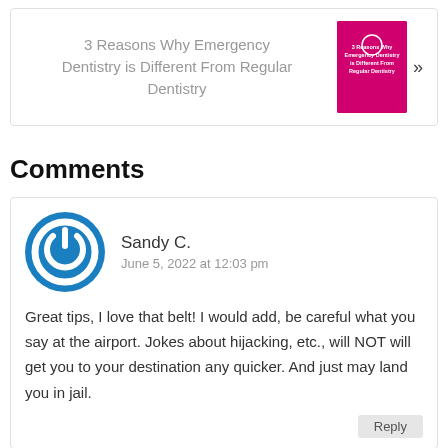3 Reasons Why Emergency Dentistry is Different From Regular Dentistry
[Figure (illustration): Pink book cover titled '3 Reasons Why Emergency Dentistry is Different From Regular Dentistry']
Comments
[Figure (illustration): Blue circular power button avatar icon]
Sandy C.
June 5, 2022 at 12:03 pm
Great tips, I love that belt! I would add, be careful what you say at the airport. Jokes about hijacking, etc., will NOT will get you to your destination any quicker. And just may land you in jail.
Reply